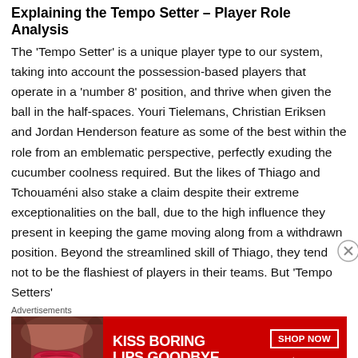Explaining the Tempo Setter – Player Role Analysis
The 'Tempo Setter' is a unique player type to our system, taking into account the possession-based players that operate in a 'number 8' position, and thrive when given the ball in the half-spaces. Youri Tielemans, Christian Eriksen and Jordan Henderson feature as some of the best within the role from an emblematic perspective, perfectly exuding the cucumber coolness required. But the likes of Thiago and Tchouaméni also stake a claim despite their extreme exceptionalities on the ball, due to the high influence they present in keeping the game moving along from a withdrawn position. Beyond the streamlined skill of Thiago, they tend not to be the flashiest of players in their teams. But 'Tempo Setters'
Advertisements
[Figure (other): Macy's advertisement banner: KISS BORING LIPS GOODBYE with red lips image, SHOP NOW button and Macy's star logo on red background]